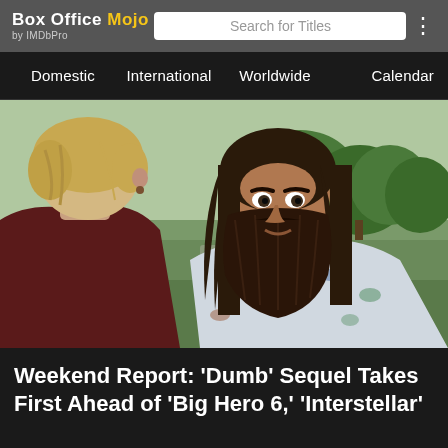Box Office Mojo by IMDbPro
Domestic  International  Worldwide  Calendar
[Figure (photo): Two people in an outdoor park setting — one person with shaggy blonde hair seen from behind, and another with long dark hair and a large unkempt beard wearing a floral shirt, both facing each other.]
Weekend Report: 'Dumb' Sequel Takes First Ahead of 'Big Hero 6,' 'Interstellar'